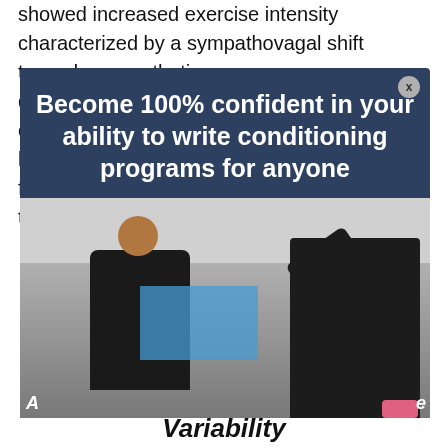showed increased exercise intensity characterized by a sympathovagal shift towards sympathetic d... ce... li... fu... or th...
[Figure (screenshot): A popup/modal overlay on a webpage with dark navy background text reading 'Become 100% confident in your ability to write conditioning programs for anyone', with a gym/training photo below showing a trainer assisting a client with an exercise, and a blue rectangle overlay on part of the image. Partial text letters visible behind the modal on left and right edges.]
Variability